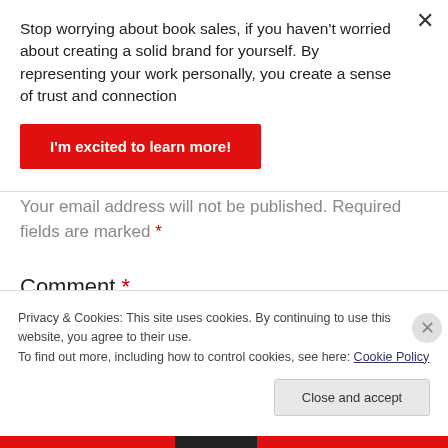Stop worrying about book sales, if you haven't worried about creating a solid brand for yourself. By representing your work personally, you create a sense of trust and connection
I'm excited to learn more!
Your email address will not be published. Required fields are marked *
Comment *
Privacy & Cookies: This site uses cookies. By continuing to use this website, you agree to their use.
To find out more, including how to control cookies, see here: Cookie Policy
Close and accept